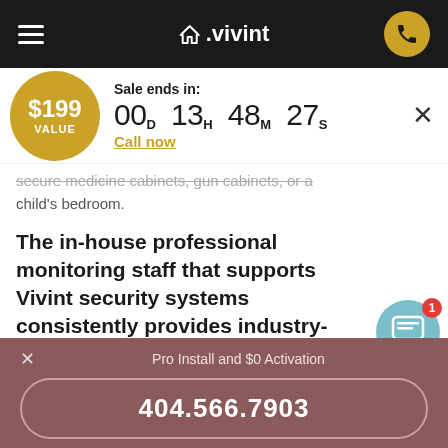[Figure (screenshot): Vivint website navigation bar with hamburger menu, Vivint logo with house icon, and gold phone button]
[Figure (infographic): Sale banner showing $199 VALUE gold badge, Sale ends in: 00D 13H 48M 27S countdown, Call now link in gold, and X close button]
secure medicine cabinets, gun cabinets, or a child's bedroom.
The in-house professional monitoring staff that supports Vivint security systems consistently provides industry-leading response times to ensure that emergency situations get resolved quickly.
[Figure (other): Teal chat bubble icon with red badge showing number 1]
Pro Install and $0 Activation
404.566.7903